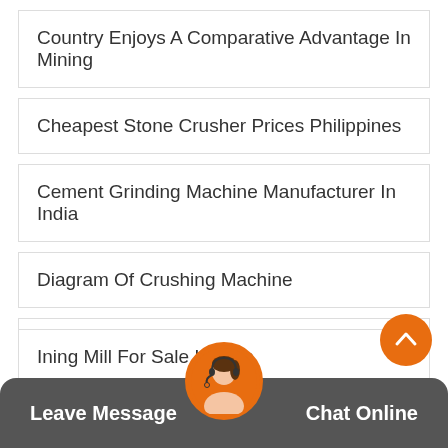Country Enjoys A Comparative Advantage In Mining
Cheapest Stone Crusher Prices Philippines
Cement Grinding Machine Manufacturer In India
Diagram Of Crushing Machine
Silica Sand Washin Lines
Coal Crusher Machine Specifi Ions
Ining Mill For Sale In Bots…
Leave Message   Chat Online